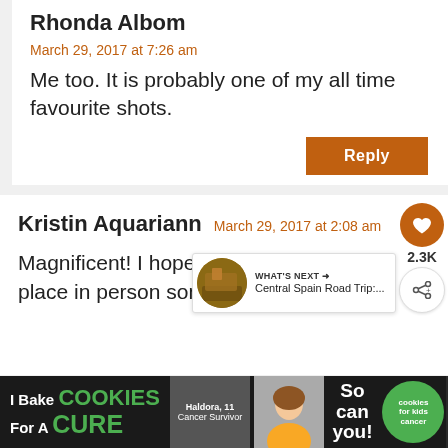Rhonda Albom
March 29, 2017 at 7:26 am
Me too. It is probably one of my all time favourite shots.
Reply
Kristin Aquariann
March 29, 2017 at 2:08 am
Magnificent! I hope I get to explore the place in person someday.
[Figure (infographic): Social sharing widget with heart icon and 2.3K count, share button]
[Figure (infographic): What's Next widget showing Central Spain Road Trip thumbnail]
[Figure (infographic): Advertisement banner: I Bake COOKIES For A CURE - So can you! with cookies for kids cancer logo]